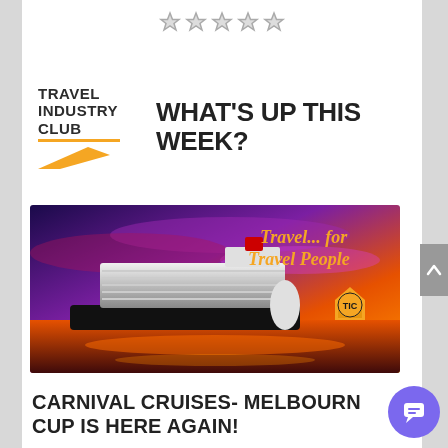[Figure (other): Five light grey star rating icons centered near the top of the page]
[Figure (logo): Travel Industry Club logo with text 'TRAVEL INDUSTRY CLUB', an orange underline, and an orange arrow/chevron shape below]
WHAT'S UP THIS WEEK?
[Figure (photo): Cruise ship banner ad for Travel Industry Club showing a large white cruise ship on golden-sunset waters with vibrant purple/pink sky. Gold cursive text reads 'Travel... for Travel People'. A gold shield badge with 'TIC' logo is shown on the right side.]
CARNIVAL CRUISES- MELBOURNE CUP IS HERE AGAIN!